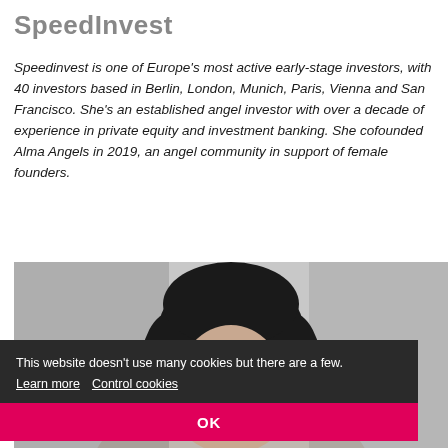SpeedInvest
Speedinvest is one of Europe's most active early-stage investors, with 40 investors based in Berlin, London, Munich, Paris, Vienna and San Francisco. She's an established angel investor with over a decade of experience in private equity and investment banking. She cofounded Alma Angels in 2019, an angel community in support of female founders.
[Figure (photo): Portrait photo of a woman with dark hair against a light background]
This website doesn't use many cookies but there are a few. Learn more   Control cookies
OK